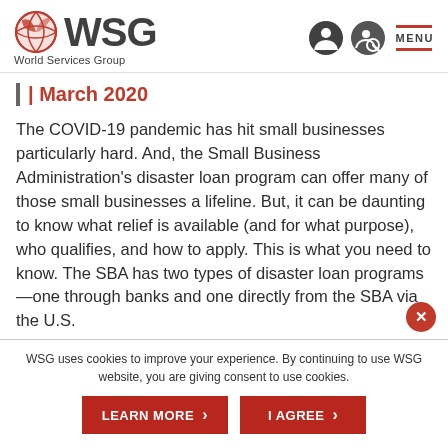WSG World Services Group | MENU
| March 2020
The COVID-19 pandemic has hit small businesses particularly hard. And, the Small Business Administration's disaster loan program can offer many of those small businesses a lifeline. But, it can be daunting to know what relief is available (and for what purpose), who qualifies, and how to apply. This is what you need to know. The SBA has two types of disaster loan programs—one through banks and one directly from the SBA via the U.S.
WSG uses cookies to improve your experience. By continuing to use WSG website, you are giving consent to use cookies.
LEARN MORE
I AGREE